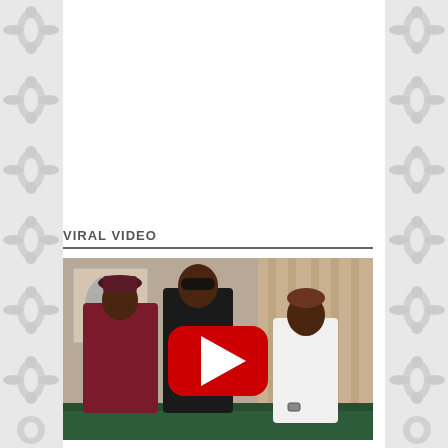[Figure (illustration): Decorative grey damask/floral pattern on left and right side borders of the page]
VIRAL VIDEO
[Figure (photo): YouTube video thumbnail showing three people standing in an indoor setting — a man in traditional Nigerian attire (maroon/red outfit and hat), a man in the center wearing sunglasses and a black outfit, and a woman on the right in a white t-shirt with short hair. There is a large red YouTube play button overlay in the center of the image.]